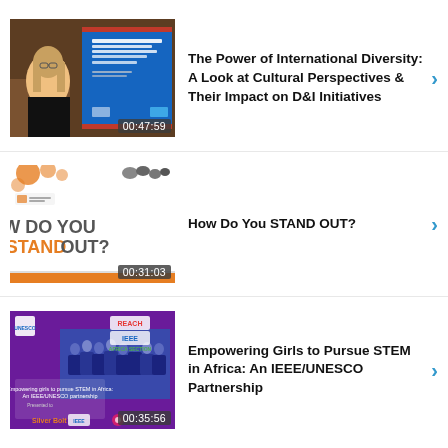[Figure (screenshot): Video thumbnail showing a woman with glasses in front of a presentation slide titled 'The Power of International Diversity: A Look at Cultural Perspectives & Their Impact on D&I Initiatives', timestamp 00:47:59]
The Power of International Diversity: A Look at Cultural Perspectives & Their Impact on D&I Initiatives
[Figure (screenshot): Video thumbnail showing a slide with 'HOW DO YOU STAND OUT?' in large text with orange accent, timestamp 00:31:03]
How Do You STAND OUT?
[Figure (screenshot): Video thumbnail showing a group photo with IEEE, UNESCO REACH logos and text 'Empowering girls to pursue STEM in Africa: An IEEE/UNESCO partnership', Silver Bolt label, timestamp 00:35:56]
Empowering Girls to Pursue STEM in Africa: An IEEE/UNESCO Partnership